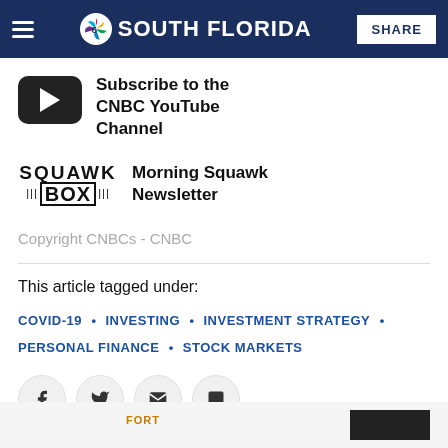NBC 6 South Florida — SHARE
[Figure (logo): YouTube play button icon for CNBC subscribe link]
Subscribe to the CNBC YouTube Channel
[Figure (logo): Squawk Box logo]
Morning Squawk Newsletter
Copyright CNBCs - CNBC
This article tagged under:
COVID-19 • INVESTING • INVESTMENT STRATEGY • PERSONAL FINANCE • STOCK MARKETS
[Figure (infographic): Social sharing icons: Facebook, Twitter, Email, Comments]
FORT